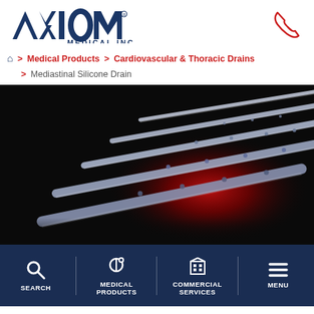[Figure (logo): Axiom Medical Inc. logo with blue text and stylized A-X-I-O-M lettering]
[Figure (other): Red telephone/phone icon in top right corner]
> Medical Products > Cardiovascular & Thoracic Drains > Mediastinal Silicone Drain
[Figure (photo): Product photo of Mediastinal Silicone Drains — multiple clear silicone tubes arranged diagonally on a dark background with red/crimson lighting highlight]
SEARCH | MEDICAL PRODUCTS | COMMERCIAL SERVICES | MENU